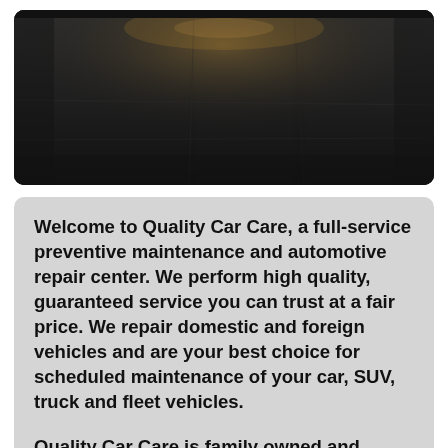[Figure (photo): Dark photo of a car garage or parking area floor/pavement, dimly lit with a warm light source visible near the top center.]
Welcome to Quality Car Care, a full-service preventive maintenance and automotive repair center. We perform high quality, guaranteed service you can trust at a fair price. We repair domestic and foreign vehicles and are your best choice for scheduled maintenance of your car, SUV, truck and fleet vehicles.
Quality Car Care is family owned and operated and we use the latest diagnostic equipment to guarantee your vehicle is serviced correctly while maintaining your manufacturer's warranty. We only use quality replacement parts, and our technicians are ASE-certified. Call us at (316) 733-4848 to schedule an appointment or just stop on by.